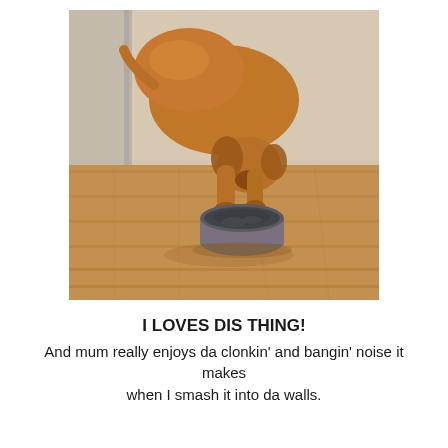[Figure (photo): A golden-brown dachshund dog bending its head down to sniff or lick a round dark puzzle toy/feeder on a wooden floor. The dog's front paws are gripping the toy. Background shows a blurred indoor room with light walls.]
I LOVES DIS THING!
And mum really enjoys da clonkin' and bangin' noise it makes
when I smash it into da walls.